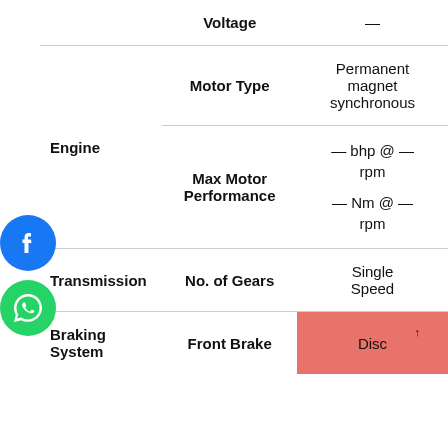| Category | Specification | Value |
| --- | --- | --- |
|  | Voltage | — |
| Engine | Motor Type | Permanent magnet synchronous |
|  | Max Motor Performance | — bhp @ — rpm
— Nm @ — rpm |
| Transmission | No. of Gears | Single Speed |
| Braking System | Front Brake | Disc |